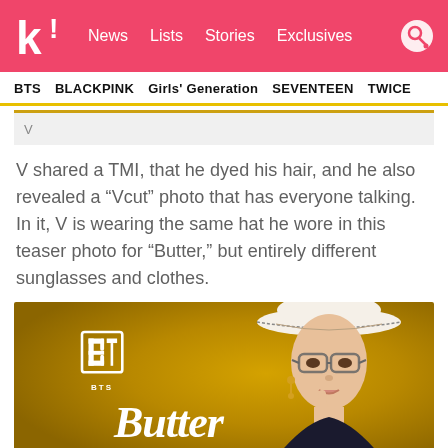k! News  Lists  Stories  Exclusives
BTS  BLACKPINK  Girls' Generation  SEVENTEEN  TWICE
V
V shared a TMI, that he dyed his hair, and he also revealed a “Vcut” photo that has everyone talking. In it, V is wearing the same hat he wore in this teaser photo for “Butter,” but entirely different sunglasses and clothes.
[Figure (photo): BTS Butter teaser photo showing V wearing a white hat and glasses against a golden yellow background, with BTS logo and 'Butter' text visible]